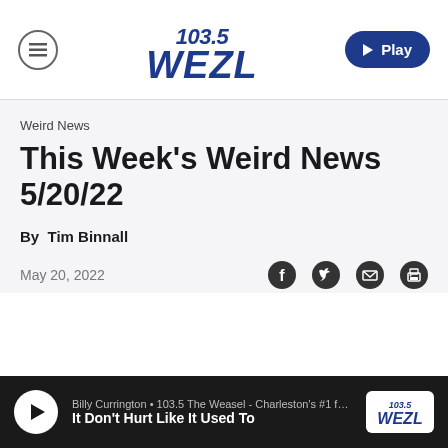103.5 WEZL — Play
Weird News
This Week's Weird News 5/20/22
By Tim Binnall
May 20, 2022
[Figure (other): Social share icons: Facebook, Twitter, Email, Print]
Billy Currington • 103.5 The Weasel - Charleston's #1 fo... It Don't Hurt Like It Used To